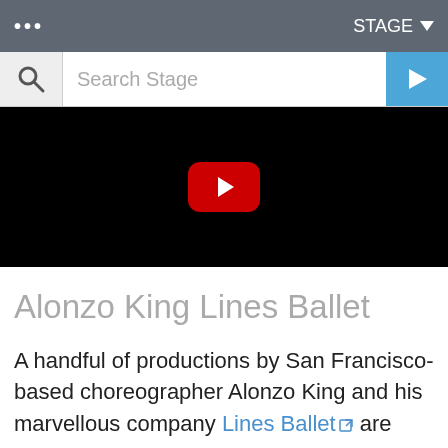... STAGE
Search Stage
[Figure (screenshot): Black video thumbnail with YouTube play button (red rounded rectangle with white triangle) centered]
Alonzo King Lines Ballet
A handful of productions by San Francisco-based choreographer Alonzo King and his marvellous company Lines Ballet are